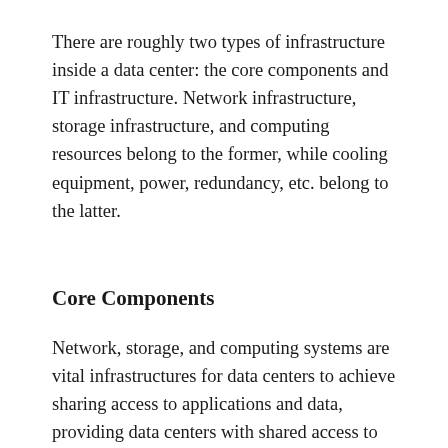There are roughly two types of infrastructure inside a data center: the core components and IT infrastructure. Network infrastructure, storage infrastructure, and computing resources belong to the former, while cooling equipment, power, redundancy, etc. belong to the latter.
Core Components
Network, storage, and computing systems are vital infrastructures for data centers to achieve sharing access to applications and data, providing data centers with shared access to applications and data. Also, they are the core